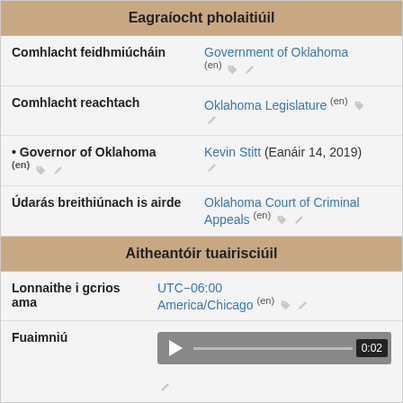Eagraíocht pholaitiúil
| Comhlacht feidhmiúcháin | Government of Oklahoma (en) |
| Comhlacht reachtach | Oklahoma Legislature (en) |
| • Governor of Oklahoma (en) | Kevin Stitt (Eanáir 14, 2019) |
| Údarás breithiúnach is airde | Oklahoma Court of Criminal Appeals (en) |
Aitheantóir tuairisciúil
| Lonnaithe i gcrios ama | UTC−06:00 America/Chicago (en) |
| Fuaimniú | 0:02 |